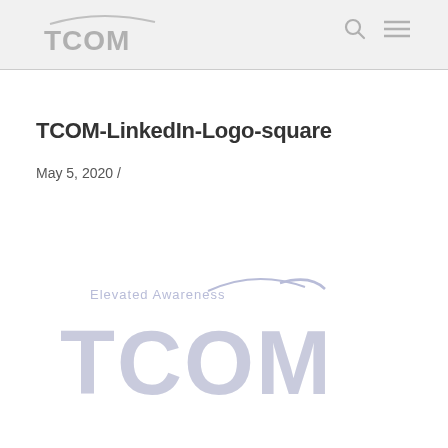TCOM
TCOM-LinkedIn-Logo-square
May 5, 2020 /
[Figure (logo): TCOM logo with 'Elevated Awareness' tagline in light purple/lavender, large watermark style]